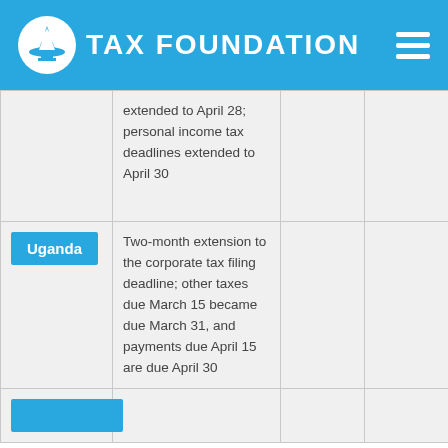TAX FOUNDATION
| Country | Details |  |  |
| --- | --- | --- | --- |
|  | extended to April 28; personal income tax deadlines extended to April 30 |  |  |
| Uganda | Two-month extension to the corporate tax filing deadline; other taxes due March 15 became due March 31, and payments due April 15 are due April 30 |  |  |
|  |  |  |  |